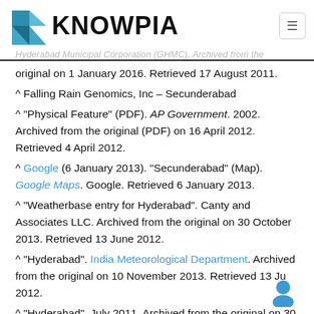KNOWPIA
original on 1 January 2016. Retrieved 17 August 2011.
^ Falling Rain Genomics, Inc – Secunderabad
^ "Physical Feature" (PDF). AP Government. 2002. Archived from the original (PDF) on 16 April 2012. Retrieved 4 April 2012.
^ Google (6 January 2013). "Secunderabad" (Map). Google Maps. Google. Retrieved 6 January 2013.
^ "Weatherbase entry for Hyderabad". Canty and Associates LLC. Archived from the original on 30 October 2013. Retrieved 13 June 2012.
^ "Hyderabad". India Meteorological Department. Archived from the original on 10 November 2013. Retrieved 13 June 2012.
^ "Hyderabad". July 2011. Archived from the original on 30